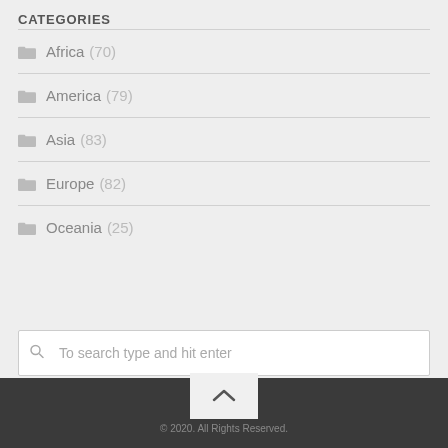CATEGORIES
Africa (70)
America (79)
Asia (83)
Europe (82)
Oceania (25)
To search type and hit enter
© 2020. All Rights Reserved.